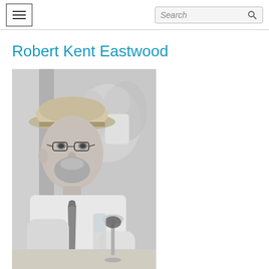Menu | Search
Robert Kent Eastwood
[Figure (photo): Black and white photograph of an older man wearing a straw boater hat and tie, seated at a table with wine glasses, with other people visible in the background]